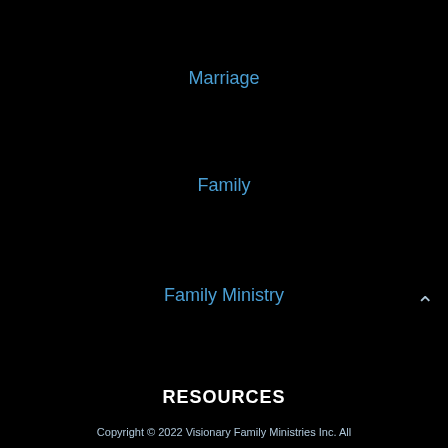Marriage
Family
Family Ministry
RESOURCES
Bookstore
Podcast
Video
Articles
Copyright © 2022 Visionary Family Ministries Inc. All